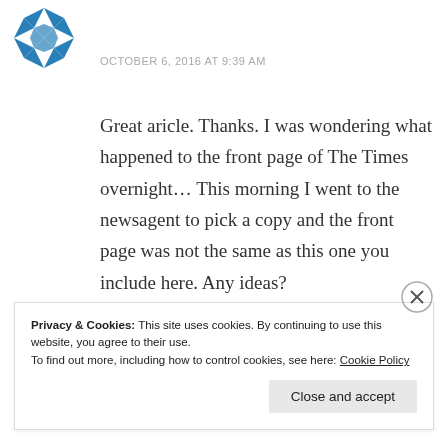[Figure (logo): Blue geometric star/pinwheel logo made of triangular arrow shapes]
OCTOBER 6, 2016 AT 9:39 AM
Great aricle. Thanks. I was wondering what happened to the front page of The Times overnight... This morning I went to the newsagent to pick a copy and the front page was not the same as this one you include here. Any ideas?
★ Like
Privacy & Cookies: This site uses cookies. By continuing to use this website, you agree to their use.
To find out more, including how to control cookies, see here: Cookie Policy
Close and accept